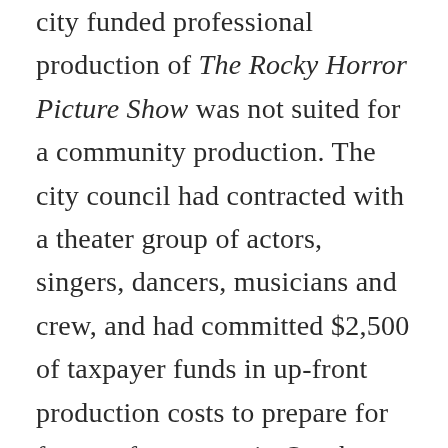city funded professional production of The Rocky Horror Picture Show was not suited for a community production. The city council had contracted with a theater group of actors, singers, dancers, musicians and crew, and had committed $2,500 of taxpayer funds in up-front production costs to prepare for four performances in October. The mayor's spokesperson said that the production was going to contain racy choreography,despite the fact that it